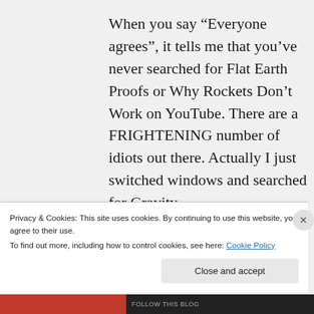When you say “Everyone agrees”, it tells me that you’ve never searched for Flat Earth Proofs or Why Rockets Don’t Work on YouTube. There are a FRIGHTENING number of idiots out there. Actually I just switched windows and searched for Gravity
Privacy & Cookies: This site uses cookies. By continuing to use this website, you agree to their use.
To find out more, including how to control cookies, see here: Cookie Policy
Close and accept